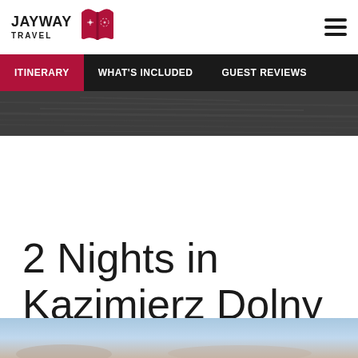JayWay Travel [logo with book icon] [hamburger menu]
ITINERARY | WHAT'S INCLUDED | GUEST REVIEWS
[Figure (photo): Dark textured aerial or water surface photo]
2 Nights in Kazimierz Dolny
[Figure (photo): Bottom partial photo with blue sky and landscape]